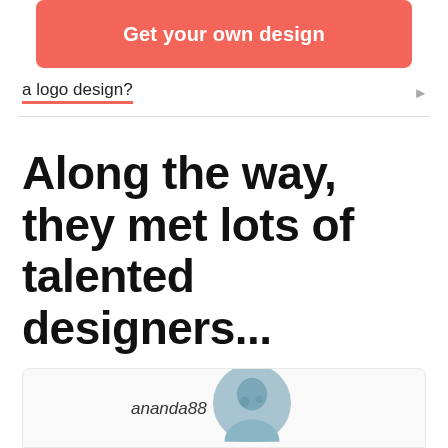[Figure (other): Red/coral rounded button with white bold text reading 'Get your own design']
a logo design?
Along the way, they met lots of talented designers...
ananda88